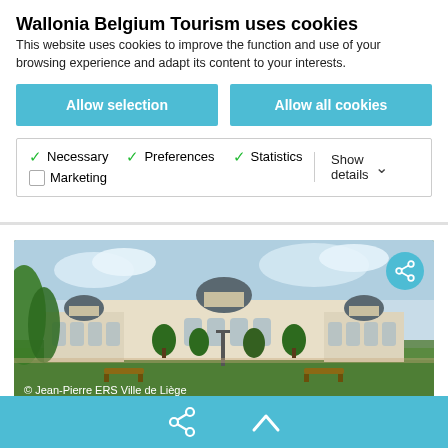Wallonia Belgium Tourism uses cookies
This website uses cookies to improve the function and use of your browsing experience and adapt its content to your interests.
Allow selection
Allow all cookies
Necessary  Preferences  Statistics  Marketing  Show details
[Figure (photo): Exterior of a grand classical building (Ville de Liège) with parkland in the foreground, benches, and trees. Credit: © Jean-Pierre ERS Ville de Liège]
© Jean-Pierre ERS Ville de Liège